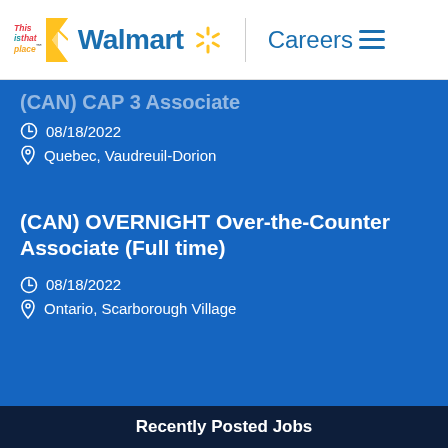[Figure (logo): Walmart Careers website header with 'This is that place' logo, Walmart spark logo, Careers text, and hamburger menu]
(CAN) CAP 3 Associate
08/18/2022
Quebec, Vaudreuil-Dorion
(CAN) OVERNIGHT Over-the-Counter Associate (Full time)
08/18/2022
Ontario, Scarborough Village
Recently Posted Jobs